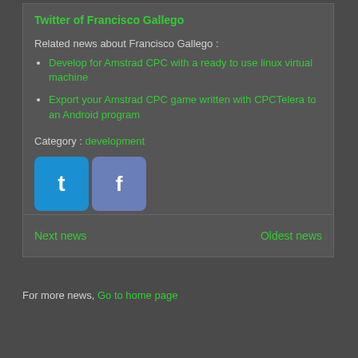Twitter of Francisco Gallego
Related news about Francisco Gallego :
Develop for Amstrad CPC with a ready to use linux virtual machine
Export your Amstrad CPC game written with CPCTelera to an Android program
Category : development
[Figure (illustration): Twitter and Facebook social media icon buttons]
Next news
Oldest news
For more news, Go to home page